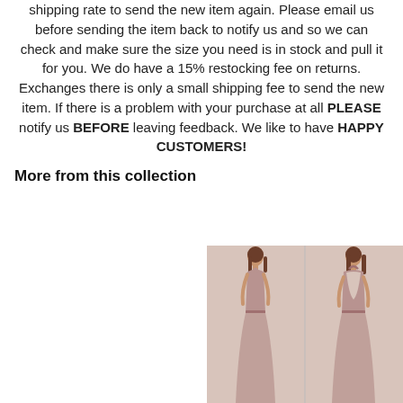shipping rate to send the new item again. Please email us before sending the item back to notify us and so we can check and make sure the size you need is in stock and pull it for you. We do have a 15% restocking fee on returns. Exchanges there is only a small shipping fee to send the new item. If there is a problem with your purchase at all PLEASE notify us BEFORE leaving feedback. We like to have HAPPY CUSTOMERS!
More from this collection
[Figure (photo): Two photos of a woman modeling a mauve/dusty rose long halter-neck dress — front view on the left, back view on the right.]